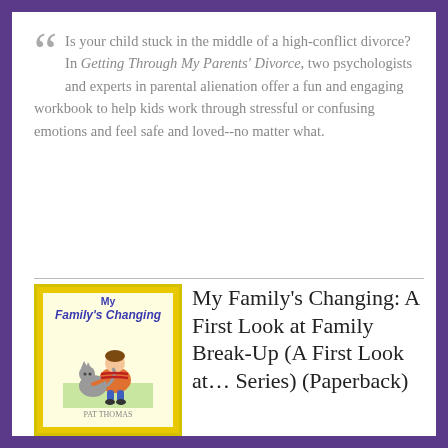Is your child stuck in the middle of a high-conflict divorce? In Getting Through My Parents' Divorce, two psychologists and experts in parental alienation offer a fun and engaging workbook to help kids work through stressful or confusing emotions and feel safe and loved--no matter what.
[Figure (illustration): Book cover for 'My Family's Changing: A First Look at Family Break-Up' showing a child sitting with a cat, surrounded by a decorative colorful border]
My Family's Changing: A First Look at Family Break-Up (A First Look at… Series) (Paperback)